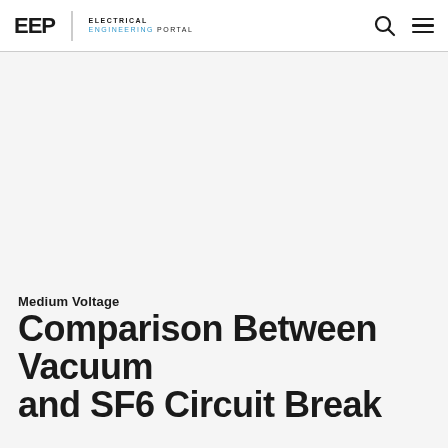EEP | ELECTRICAL ENGINEERING PORTAL
Medium Voltage
Comparison Between Vacuum and SF6 Circuit Breakers